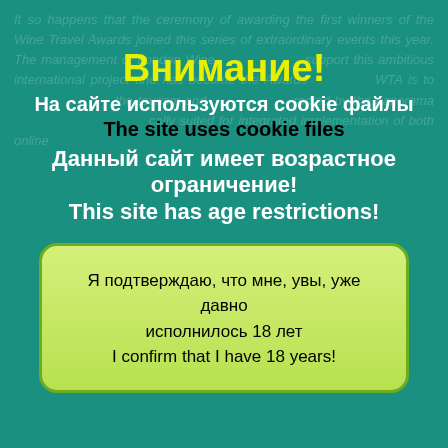It so happens that the ceremony of awarding the first winners of the Wine Travel Awards joined this series of extraordinary events this year. The management of London Wine ... support this ambitious international project and has become the Awards ... WTA is to ... the tourism and ... rected by the panorama ... cally suited for integrated implementation of both online ...
Внимание!
На сайте используются cookie файлы
The site uses cookie files
Данный сайт имеет возрастное ограничение!
This site has age restrictions!
Я подтверждаю, что мне, увы, уже давно исполнилось 18 лет
I confirm that I have 18 years!